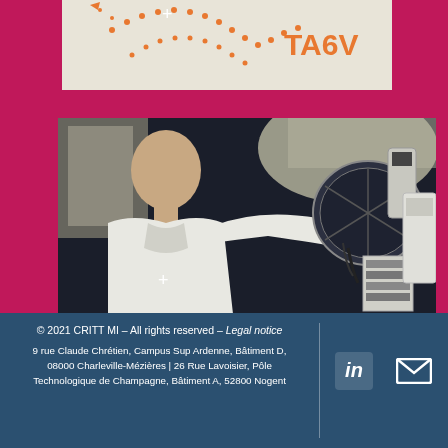[Figure (photo): Top banner with orange dotted arrow pattern and TA6V text label on pink/magenta background]
[Figure (photo): Laboratory photo of a technician in white lab coat operating a large scientific instrument (likely a diffractometer or similar analytical equipment) in a dark enclosure, on magenta background with white plus icon]
© 2021 CRITT MI – All rights reserved – Legal notice
9 rue Claude Chrétien, Campus Sup Ardenne, Bâtiment D, 08000 Charleville-Mézières | 26 Rue Lavoisier, Pôle Technologique de Champagne, Bâtiment A, 52800 Nogent